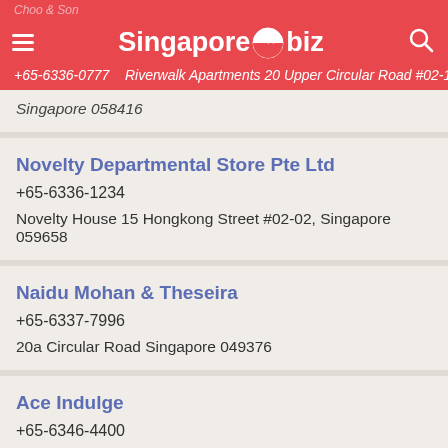Singapore.biz — Riverwalk Apartments 20 Upper Circular Road #02-10/12,
Singapore 058416
Novelty Departmental Store Pte Ltd
+65-6336-1234
Novelty House 15 Hongkong Street #02-02, Singapore 059658
Naidu Mohan & Theseira
+65-6337-7996
20a Circular Road Singapore 049376
Ace Indulge
+65-6346-4400
37a Hongkong Street #2-801, Singapore 059676